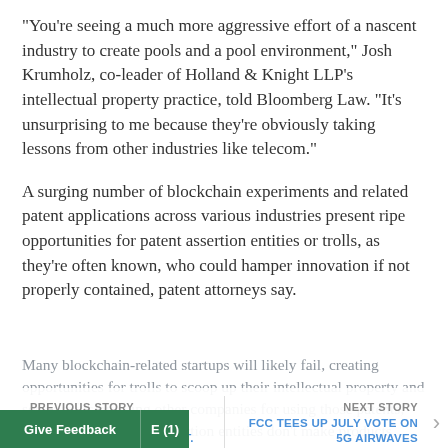“You’re seeing a much more aggressive effort of a nascent industry to create pools and a pool environment,” Josh Krumholz, co-leader of Holland & Knight LLP’s intellectual property practice, told Bloomberg Law. “It’s unsurprising to me because they’re obviously taking lessons from other industries like telecom.”
A surging number of blockchain experiments and related patent applications across various industries present ripe opportunities for patent assertion entities or trolls, as they’re often known, who could hamper innovation if not properly contained, patent attorneys say.
Many blockchain-related startups will likely fail, creating opportunities for trolls to scoop up their intellectual property and seek profits by suing other companies for using those patents, the attorneys say. But assertion entities don’t make products, meaning
PREVIOUS STORY | QUALCOMM CASE COULD CAUSE FTC, JUSTICE DEPT. | NEXT STORY | FCC TEES UP JULY VOTE ON 5G AIRWAVES | Give Feedback | E (1)